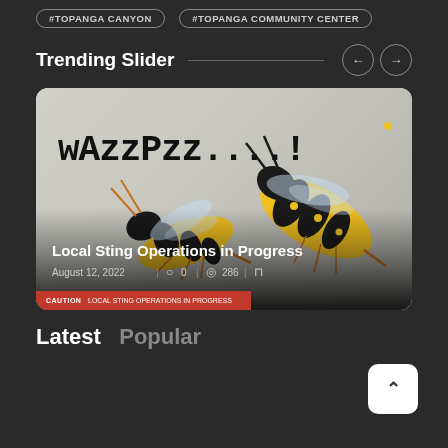#TOPANGA CANYON
#TOPANGA COMMUNITY CENTER
Trending Slider
[Figure (photo): Wasp/yellow jacket insects with text 'wAzzPzz....!' overlaid, article thumbnail for 'Local Sting Operations in Progress']
Local Sting Operations in Progress
August 12, 2022  |  0  |  286
Latest   Popular